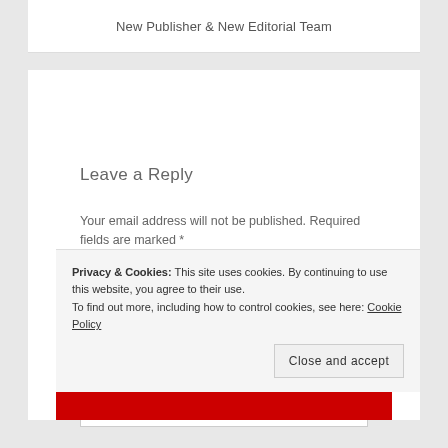New Publisher & New Editorial Team
Leave a Reply
Your email address will not be published. Required fields are marked *
Comment
*
Privacy & Cookies: This site uses cookies. By continuing to use this website, you agree to their use.
To find out more, including how to control cookies, see here: Cookie Policy
Close and accept